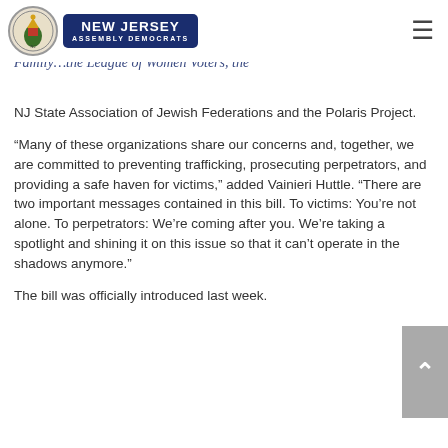New Jersey Assembly Democrats
NJ State Association of Jewish Federations and the Polaris Project.
“Many of these organizations share our concerns and, together, we are committed to preventing trafficking, prosecuting perpetrators, and providing a safe haven for victims,” added Vainieri Huttle. “There are two important messages contained in this bill. To victims: You’re not alone. To perpetrators: We’re coming after you. We’re taking a spotlight and shining it on this issue so that it can’t operate in the shadows anymore.”
The bill was officially introduced last week.